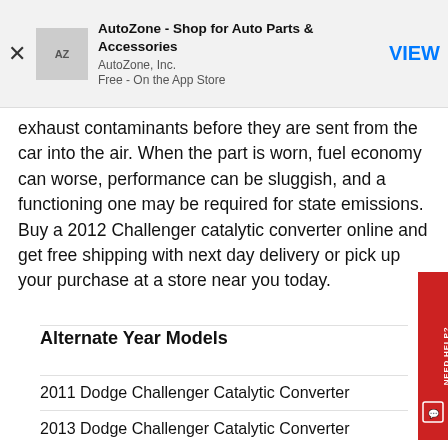[Figure (screenshot): AutoZone app banner with logo, title 'AutoZone - Shop for Auto Parts & Accessories', publisher 'AutoZone, Inc.', 'Free - On the App Store', and VIEW button. Has close (X) button on left.]
exhaust contaminants before they are sent from the car into the air. When the part is worn, fuel economy can worse, performance can be sluggish, and a functioning one may be required for state emissions. Buy a 2012 Challenger catalytic converter online and get free shipping with next day delivery or pick up your purchase at a store near you today.
Alternate Year Models
2011 Dodge Challenger Catalytic Converter
2013 Dodge Challenger Catalytic Converter